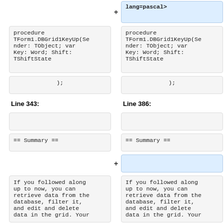lang=pascal>
procedure TForm1.DBGrid1KeyUp(Sender: TObject; var Key: Word; Shift: TShiftState
procedure TForm1.DBGrid1KeyUp(Sender: TObject; var Key: Word; Shift: TShiftState
);
);
Line 343:
Line 386:
== Summary ==
== Summary ==
If you followed along up to now, you can retrieve data from the database, filter it, and edit and delete data in the grid. Your
If you followed along up to now, you can retrieve data from the database, filter it, and edit and delete data in the grid. Your